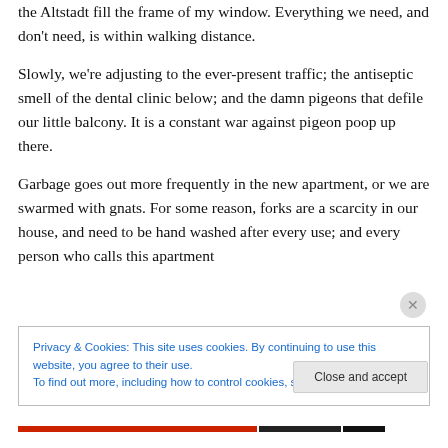the Altstadt fill the frame of my window. Everything we need, and don't need, is within walking distance.
Slowly, we're adjusting to the ever-present traffic; the antiseptic smell of the dental clinic below; and the damn pigeons that defile our little balcony. It is a constant war against pigeon poop up there.
Garbage goes out more frequently in the new apartment, or we are swarmed with gnats. For some reason, forks are a scarcity in our house, and need to be hand washed after every use; and every person who calls this apartment
Privacy & Cookies: This site uses cookies. By continuing to use this website, you agree to their use.
To find out more, including how to control cookies, see here: Cookie Policy
Close and accept